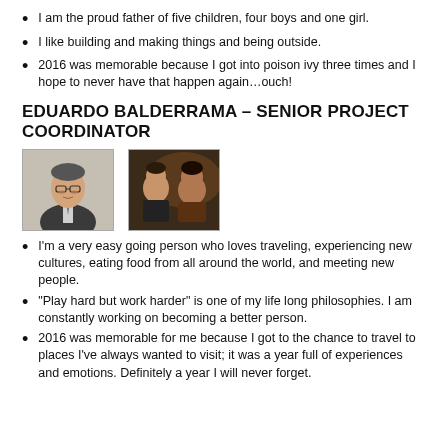I am the proud father of five children, four boys and one girl.
I like building and making things and being outside.
2016 was memorable because I got into poison ivy three times and I hope to never have that happen again…ouch!
EDUARDO BALDERRAMA – SENIOR PROJECT COORDINATOR
[Figure (photo): Two photos of Eduardo Balderrama: a headshot in a suit and a casual group photo.]
I'm a very easy going person who loves traveling, experiencing new cultures, eating food from all around the world, and meeting new people.
"Play hard but work harder" is one of my life long philosophies. I am constantly working on becoming a better person.
2016 was memorable for me because I got to the chance to travel to places I've always wanted to visit; it was a year full of experiences and emotions. Definitely a year I will never forget.